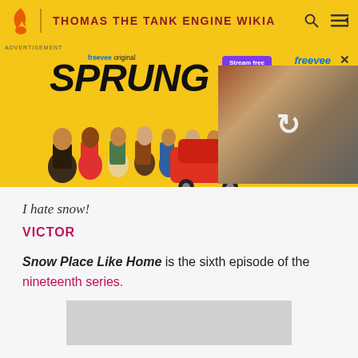THOMAS THE TANK ENGINE WIKIA
[Figure (screenshot): Advertisement for Freevee original series 'SPRUNG' showing characters on yellow background with a video thumbnail on the right]
I hate snow!
VICTOR
Snow Place Like Home is the sixth episode of the nineteenth series.